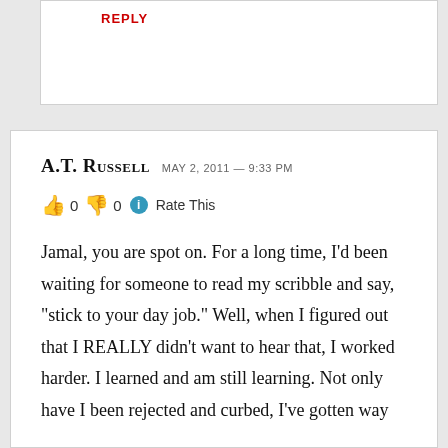REPLY
A.T. Russell  May 2, 2011 — 9:33 pm
👍 0 👎 0 ℹ Rate This
Jamal, you are spot on. For a long time, I'd been waiting for someone to read my scribble and say, "stick to your day job." Well, when I figured out that I REALLY didn't want to hear that, I worked harder. I learned and am still learning. Not only have I been rejected and curbed, I've gotten way